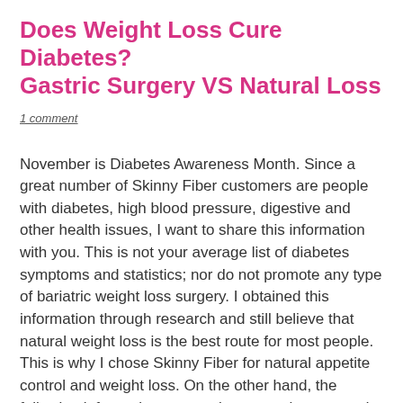Does Weight Loss Cure Diabetes? Gastric Surgery VS Natural Loss
1 comment
November is Diabetes Awareness Month. Since a great number of Skinny Fiber customers are people with diabetes, high blood pressure, digestive and other health issues, I want to share this information with you. This is not your average list of diabetes symptoms and statistics; nor do not promote any type of bariatric weight loss surgery. I obtained this information through research and still believe that natural weight loss is the best route for most people. This is why I chose Skinny Fiber for natural appetite control and weight loss. On the other hand, the following information on gastric surgery has opened my eyes to the benefits of bariatric surgery for people suffering